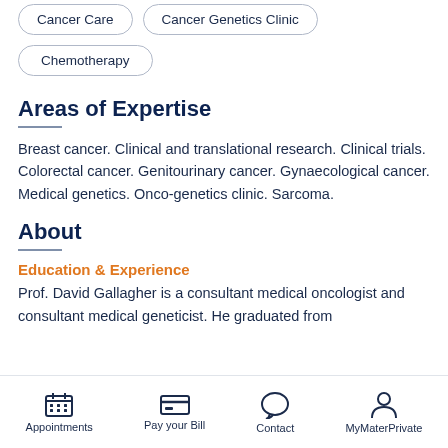Cancer Care
Cancer Genetics Clinic
Chemotherapy
Areas of Expertise
Breast cancer. Clinical and translational research. Clinical trials. Colorectal cancer. Genitourinary cancer. Gynaecological cancer. Medical genetics. Onco-genetics clinic. Sarcoma.
About
Education & Experience
Prof. David Gallagher is a consultant medical oncologist and consultant medical geneticist. He graduated from
Appointments | Pay your Bill | Contact | MyMaterPrivate